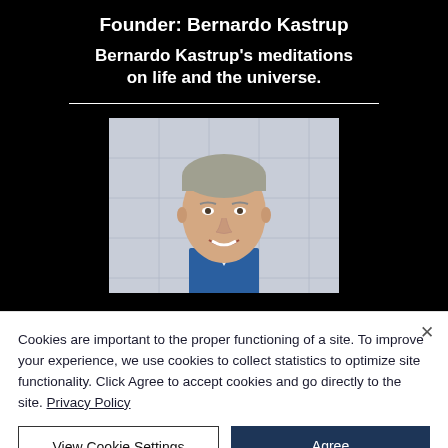Founder: Bernardo Kastrup
Bernardo Kastrup's meditations on life and the universe.
[Figure (photo): Portrait photo of Bernardo Kastrup, a middle-aged man with short gray-blond hair, smiling, wearing a blue suit jacket, against a light architectural background]
Cookies are important to the proper functioning of a site. To improve your experience, we use cookies to collect statistics to optimize site functionality. Click Agree to accept cookies and go directly to the site. Privacy Policy
View Cookie Settings
Agree